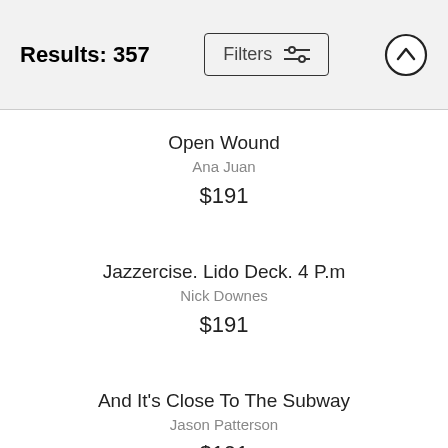Results: 357
Open Wound
Ana Juan
$191
Jazzercise. Lido Deck. 4 P.m
Nick Downes
$191
And It's Close To The Subway
Jason Patterson
$191